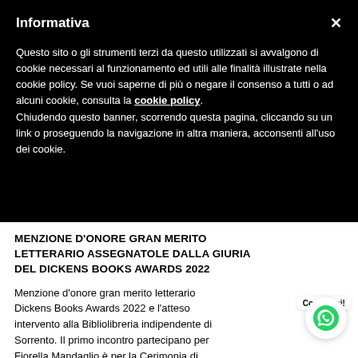Informativa
Questo sito o gli strumenti terzi da questo utilizzati si avvalgono di cookie necessari al funzionamento ed utili alle finalità illustrate nella cookie policy. Se vuoi saperne di più o negare il consenso a tutti o ad alcuni cookie, consulta la cookie policy. Chiudendo questo banner, scorrendo questa pagina, cliccando su un link o proseguendo la navigazione in altra maniera, acconsenti all'uso dei cookie.
MENZIONE D'ONORE GRAN MERITO LETTERARIO ASSEGNATOLE DALLA GIURIA DEL DICKENS BOOKS AWARDS 2022
Menzione d'onore gran merito letterario Dickens Books Awards 2022 e l'atteso intervento alla Bibliolibreria indipendente di Sorrento. Il primo incontro partecipano per Fiorella Mandaglio è per la Cerimonia di premiazione sabato 3 settembre presso la sala Positano all'hotel Terminus di Napoli. Ritira la